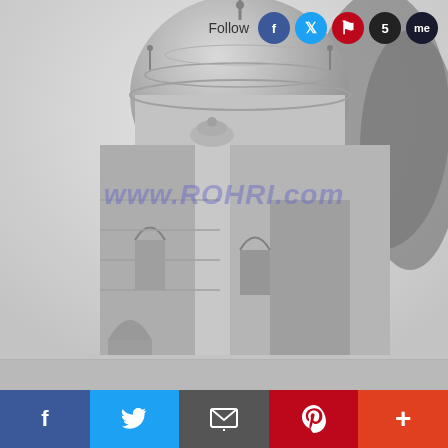[Figure (photo): Black and white photograph of a historic mosque or domed building with minarets and ornate architecture, trees visible on the right side. Watermark text 'www.ROHRI.com' overlaid in blue.]
Follow
f  Twitter  envelope  Pinterest  +